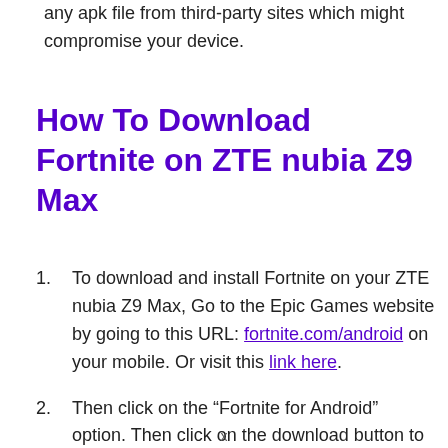any apk file from third-party sites which might compromise your device.
How To Download Fortnite on ZTE nubia Z9 Max
To download and install Fortnite on your ZTE nubia Z9 Max, Go to the Epic Games website by going to this URL: fortnite.com/android on your mobile. Or visit this link here.
Then click on the “Fortnite for Android” option. Then click on the download button to